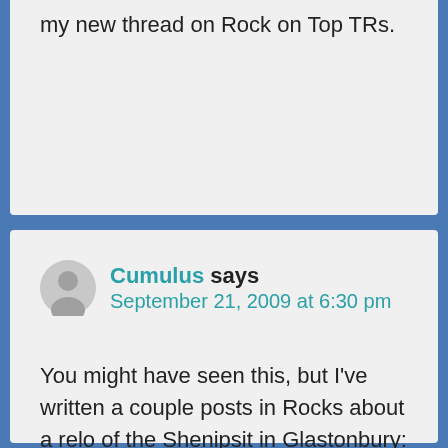had at the Birch Hill. For trailhead see my new thread on Rock on Top TRs.
Cumulus says
September 21, 2009 at 6:30 pm
You might have seen this, but I've written a couple posts in Rocks about a relo of the Shenipsit in Glastonbury:
http://www.rocksontop.com/phpbb2/viewtop...t=6132